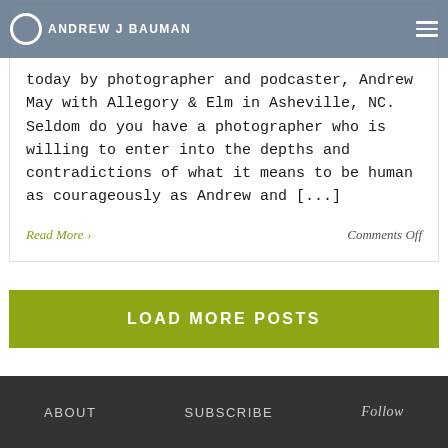ANDREW J BAUMAN
today by photographer and podcaster, Andrew May with Allegory & Elm in Asheville, NC. Seldom do you have a photographer who is willing to enter into the depths and contradictions of what it means to be human as courageously as Andrew and [...]
Read More ›
Comments Off
LOAD MORE POSTS
ABOUT   SUBSCRIBE   Follow